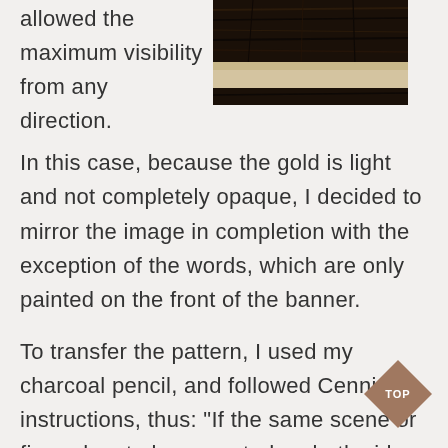allowed the maximum visibility from any direction.
[Figure (photo): Close-up photo of a wooden banner or stretcher bar, showing dark wood grain at top and a lighter wood/canvas strip below.]
In this case, because the gold is light and not completely opaque, I decided to mirror the image in completion with the exception of the words, which are only painted on the front of the banner.
To transfer the pattern, I used my charcoal pencil, and followed Cennini’s instructions, thus: “If the same scene or figure has to be executed on both sides, put the stretcher in the sun, with the drawing